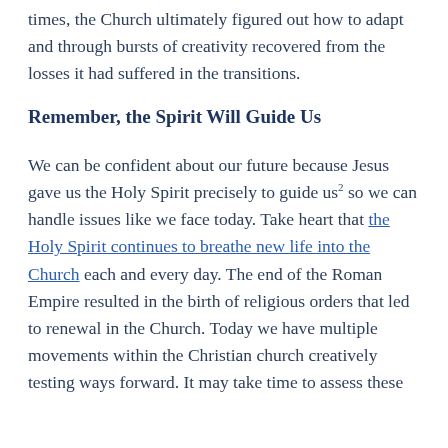times, the Church ultimately figured out how to adapt and through bursts of creativity recovered from the losses it had suffered in the transitions.
Remember, the Spirit Will Guide Us
We can be confident about our future because Jesus gave us the Holy Spirit precisely to guide us2 so we can handle issues like we face today. Take heart that the Holy Spirit continues to breathe new life into the Church each and every day. The end of the Roman Empire resulted in the birth of religious orders that led to renewal in the Church. Today we have multiple movements within the Christian church creatively testing ways forward. It may take time to assess these